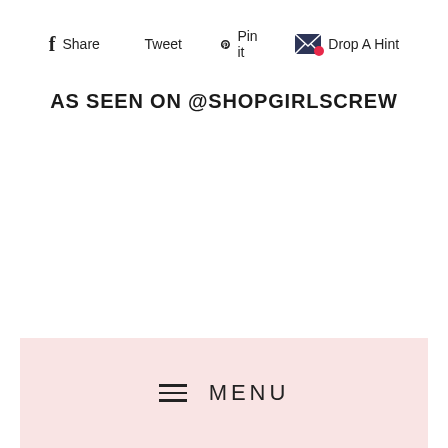Share  Tweet  Pin it  Drop A Hint
AS SEEN ON @SHOPGIRLSCREW
MENU